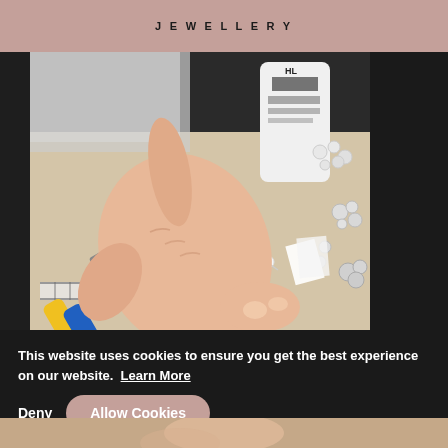JEWELLERY
[Figure (photo): A hand holding a pearl necklace strand over a workbench with jewelry-making tools including yellow-and-blue pliers, a ruler, rhinestone embellishments, pearl beads, and a white product bottle in the background.]
This website uses cookies to ensure you get the best experience on our website. Learn More
Deny
Allow Cookies
[Figure (photo): Bottom strip showing another photo partially visible at the bottom of the page.]